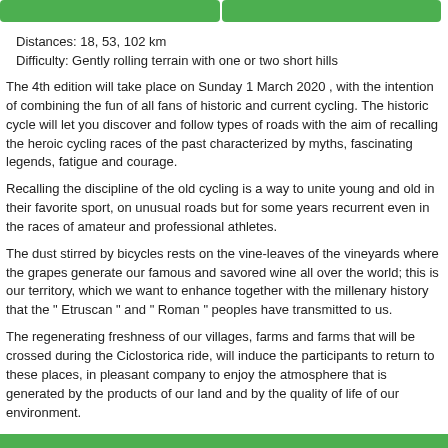Distances: 18, 53, 102 km
Difficulty: Gently rolling terrain with one or two short hills
The 4th edition will take place on Sunday 1 March 2020 , with the intention of combining the fun of all fans of historic and current cycling. The historic cycle will let you discover and follow types of roads with the aim of recalling the heroic cycling races of the past characterized by myths, fascinating legends, fatigue and courage.
Recalling the discipline of the old cycling is a way to unite young and old in their favorite sport, on unusual roads but for some years recurrent even in the races of amateur and professional athletes.
The dust stirred by bicycles rests on the vine-leaves of the vineyards where the grapes generate our famous and savored wine all over the world; this is our territory, which we want to enhance together with the millenary history that the " Etruscan " and " Roman " peoples have transmitted to us.
The regenerating freshness of our villages, farms and farms that will be crossed during the Ciclostorica ride, will induce the participants to return to these places, in pleasant company to enjoy the atmosphere that is generated by the products of our land and by the quality of life of our environment.